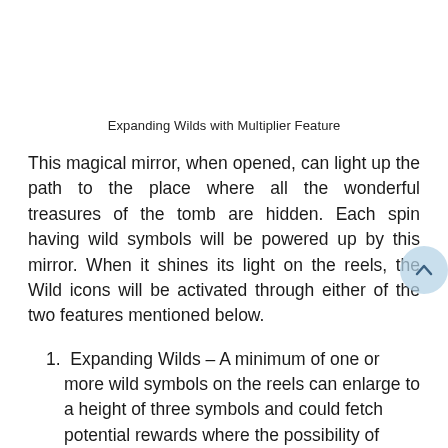Expanding Wilds with Multiplier Feature
This magical mirror, when opened, can light up the path to the place where all the wonderful treasures of the tomb are hidden. Each spin having wild symbols will be powered up by this mirror. When it shines its light on the reels, the Wild icons will be activated through either of the two features mentioned below.
Expanding Wilds – A minimum of one or more wild symbols on the reels can enlarge to a height of three symbols and could fetch potential rewards where the possibility of none existed earlier.